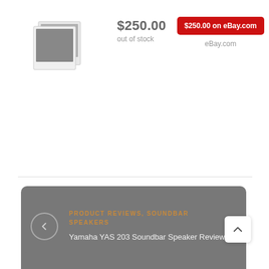[Figure (photo): Placeholder product image (two overlapping photograph placeholders with gray square)]
$250.00
out of stock
$250.00 on eBay.com
eBay.com
PRODUCT REVIEWS, SOUNDBAR SPEAKERS
Yamaha YAS 203 Soundbar Speaker Review